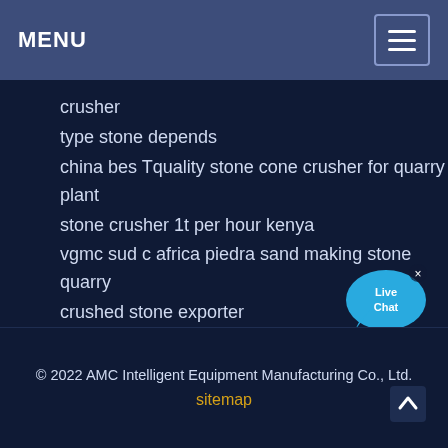MENU
crusher
type stone depends
china bes Tquality stone cone crusher for quarry plant
stone crusher 1t per hour kenya
vgmc sud c africa piedra sand making stone quarry
crushed stone exporter
bahan kuliah teknik mesin stone crusher untuk quarry
scalping stone
[Figure (illustration): Blue speech bubble with 'Live Chat' text in white, with a small x close button]
© 2022 AMC Intelligent Equipment Manufacturing Co., Ltd.
sitemap